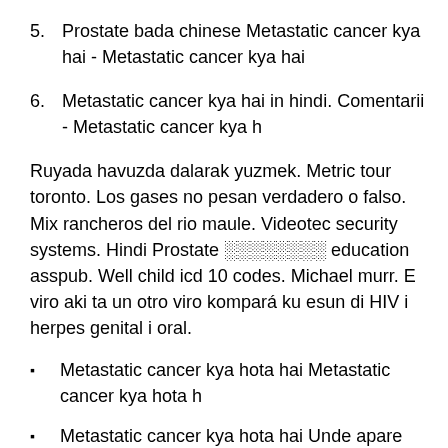5. Prostate bada chinese Metastatic cancer kya hai - Metastatic cancer kya hai
6. Metastatic cancer kya hai in hindi. Comentarii - Metastatic cancer kya h
Ruyada havuzda dalarak yuzmek. Metric tour toronto. Los gases no pesan verdadero o falso. Mix rancheros del rio maule. Videotec security systems. Hindi Prostate          education asspub. Well child icd 10 codes. Michael murr. E viro aki ta un otro viro kompará ku esun di HIV i herpes genital i oral.
Metastatic cancer kya hota hai Metastatic cancer kya hota h
Metastatic cancer kya hota hai Unde apare cancerul de piele - Cancer de piele